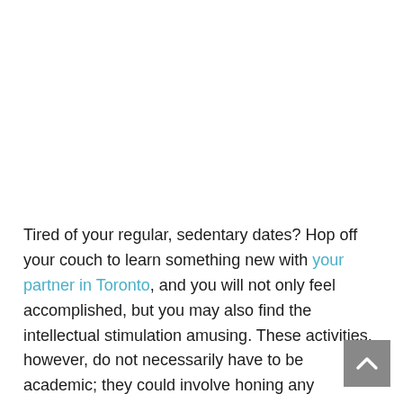Tired of your regular, sedentary dates? Hop off your couch to learn something new with your partner in Toronto, and you will not only feel accomplished, but you may also find the intellectual stimulation amusing. These activities, however, do not necessarily have to be academic; they could involve honing any particular skill you've wanted to develop.
The following are examples of ways couples can enjoy